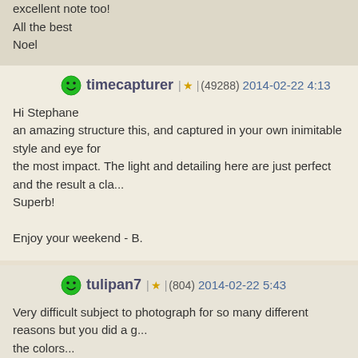excellent note too!
All the best
Noel
timecapturer | ★ (49288) 2014-02-22 4:13
Hi Stephane
an amazing structure this, and captured in your own inimitable style and eye for the most impact. The light and detailing here are just perfect and the result a cla...
Superb!

Enjoy your weekend - B.
tulipan7 | ★ (804) 2014-02-22 5:43
Very difficult subject to photograph for so many different reasons but you did a g... the colors...
rychem | ★ (72187) 2014-02-22 8:41
An original building and an original way of comunication in the city, I can imagin... tower, clear and sharp photo
Regards
Ryszard